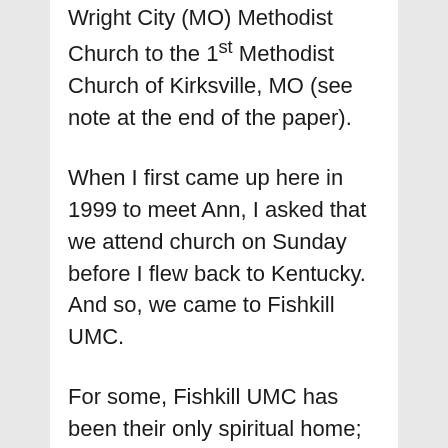Wright City (MO) Methodist Church to the 1st Methodist Church of Kirksville, MO (see note at the end of the paper).
When I first came up here in 1999 to meet Ann, I asked that we attend church on Sunday before I flew back to Kentucky.  And so, we came to Fishkill UMC.
For some, Fishkill UMC has been their only spiritual home; for others, it has been one of several.  But no matter how many they have been...